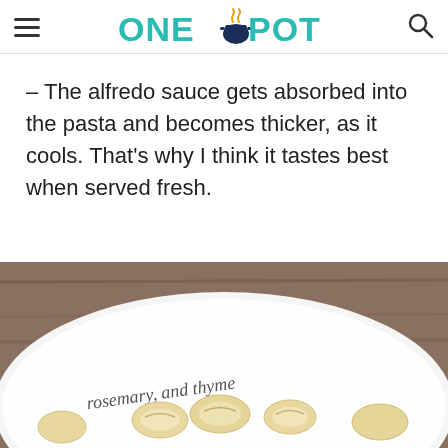ONE POT
– The alfredo sauce gets absorbed into the pasta and becomes thicker, as it cools. That's why I think it tastes best when served fresh.
[Figure (photo): Close-up photo of pasta in a white bowl with decorative text reading 'rosemary and thyme', showing creamy tortellini or orecchiette pasta on a rustic wooden background.]